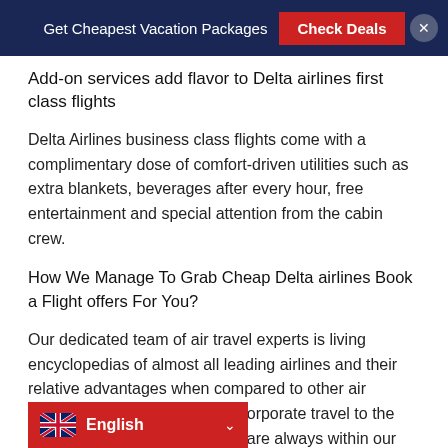Get Cheapest Vacation Packages  Check Deals  ×
Add-on services add flavor to Delta airlines first class flights
Delta Airlines business class flights come with a complimentary dose of comfort-driven utilities such as extra blankets, beverages after every hour, free entertainment and special attention from the cabin crew.
How We Manage To Grab Cheap Delta airlines Book a Flight offers For You?
Our dedicated team of air travel experts is living encyclopedias of almost all leading airlines and their relative advantages when compared to other air carriers. Special schemes for corporate travel to the most sought-after destinations are always within our radar. Get in touch wi  ation on exclusive Delta airlines